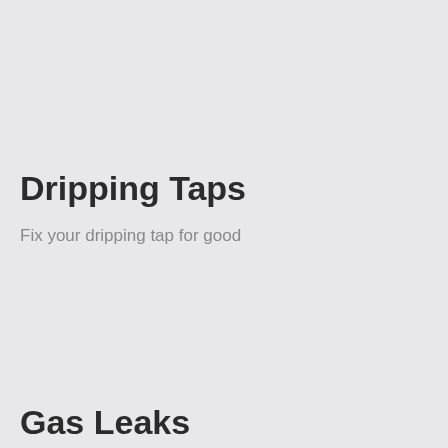Dripping Taps
Fix your dripping tap for good
Gas Leaks